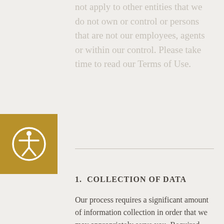not apply to other entities that we do not own or control or persons that are not our employees, agents or within our control. Please take time to read our Terms of Use.
[Figure (illustration): Gold square accessibility icon with a white person figure in a circle, universal accessibility symbol]
1. COLLECTION OF DATA
Our process requires a significant amount of information collection in order that we may appropriately serve you. Required fields are indicated. Providing us with other information is at your option. Please take note that your name, e-mail address, or other submissions that you make on this site may contain your real name or other personally identifiable information. Like many web sites, we may also automatically receive general information that is contained in our server log files such as your IP address and cookie information. Information about how